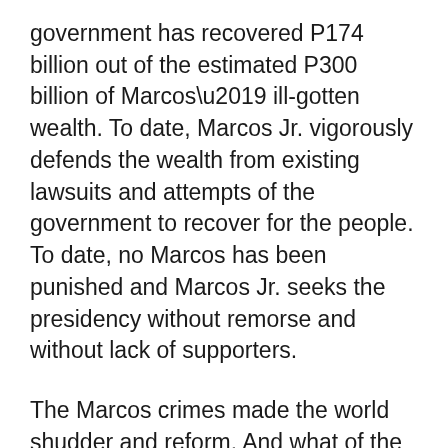government has recovered P174 billion out of the estimated P300 billion of Marcos' ill-gotten wealth. To date, Marcos Jr. vigorously defends the wealth from existing lawsuits and attempts of the government to recover for the people. To date, no Marcos has been punished and Marcos Jr. seeks the presidency without remorse and without lack of supporters.
The Marcos crimes made the world shudder and reform. And what of the Philippines and the Filipinos, begging to be laughing stocks of the world again? Begging for a repeat of the “Golden Age” of corruption, deceit, cronyism and no accountability? It is on us. We cannot stop the